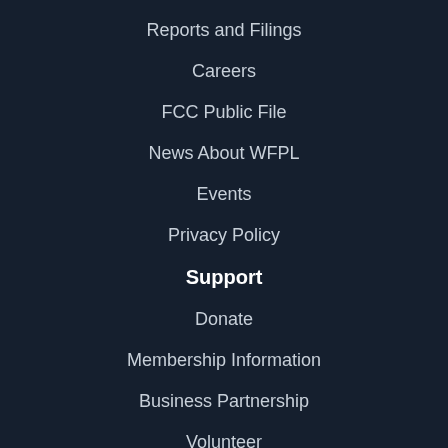Reports and Filings
Careers
FCC Public File
News About WFPL
Events
Privacy Policy
Support
Donate
Membership Information
Business Partnership
Volunteer
Shop